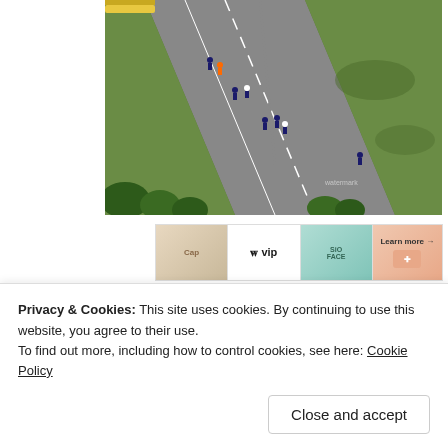[Figure (photo): Aerial view of a road with people walking on it, green grass fields alongside, trees at the bottom, taken from above.]
[Figure (infographic): Advertisement banner showing 'W vip' text with card/product images. Includes 'Learn more' arrow and 'Report this ad' text.]
Privacy & Cookies: This site uses cookies. By continuing to use this website, you agree to their use.
To find out more, including how to control cookies, see here: Cookie Policy
Close and accept